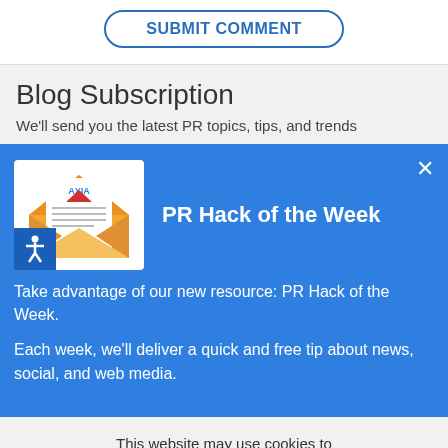SUBMIT COMMENT
Blog Subscription
We'll send you the latest PR topics, tips, and trends
[Figure (illustration): Blue popup overlay with envelope/letter icon and PR Hack of the Week heading, accessibility icon, close X button]
PR Hack of the Week
Take advantage of our new resource: PR Hack of the Week.
Each week, we'll deliver a quick and free tip about news, social, and web media.
This website may use cookies to improve your experience. Learn more
Got it!